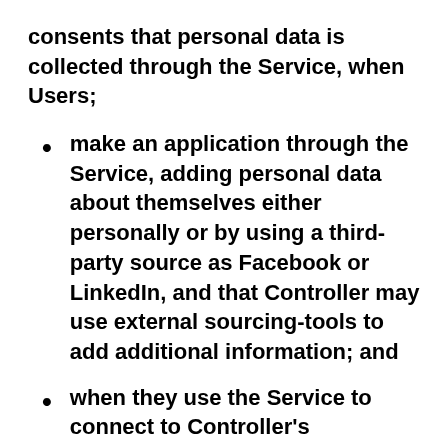consents that personal data is collected through the Service, when Users;
make an application through the Service, adding personal data about themselves either personally or by using a third-party source as Facebook or LinkedIn, and that Controller may use external sourcing-tools to add additional information; and
when they use the Service to connect to Controller's recruitment department, adding personal data